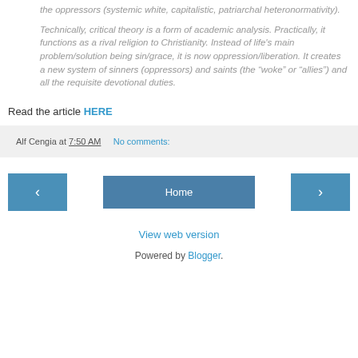the oppressors (systemic white, capitalistic, patriarchal heteronormativity).
Technically, critical theory is a form of academic analysis. Practically, it functions as a rival religion to Christianity. Instead of life's main problem/solution being sin/grace, it is now oppression/liberation. It creates a new system of sinners (oppressors) and saints (the “woke” or “allies”) and all the requisite devotional duties.
Read the article HERE
Alf Cengia at 7:50 AM   No comments:
‹
Home
›
View web version
Powered by Blogger.